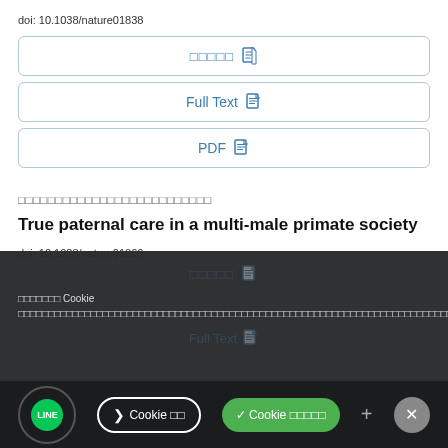doi: 10.1038/nature01838
[Figure (screenshot): Three access buttons: Thai characters button, Full Text button, PDF button — each with document icon, blue text, rounded border]
□□□□□□□□□□□□□□□□□□□□□□□□□□
True paternal care in a multi-male primate society
doi: 10.1038/nature01866
[Figure (screenshot): Cookie consent overlay in Thai language with dark background, showing cookie notice text and cookie bar with LINE button, cookie learn button, cookie accept button, plus button, and close button]